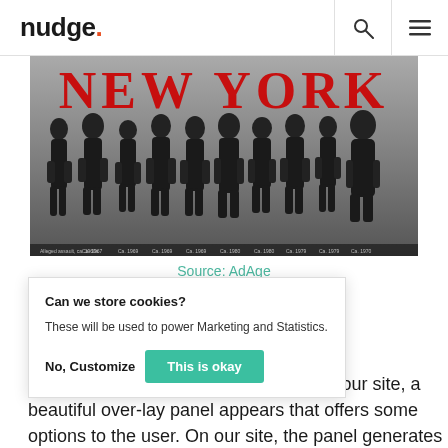nudge.
[Figure (photo): Black and white magazine cover of New York magazine showing a row of approximately 10 women seated in chairs, all wearing black clothing.]
Source: AdAge
Can we store cookies?
These will be used to power Marketing and Statistics.
Spoutable: Native Ads for Departing Visitors
No, Customize
This is okay
"When someone is preparing to leave your site, a beautiful over-lay panel appears that offers some options to the user. On our site, the panel generates eight articles that are